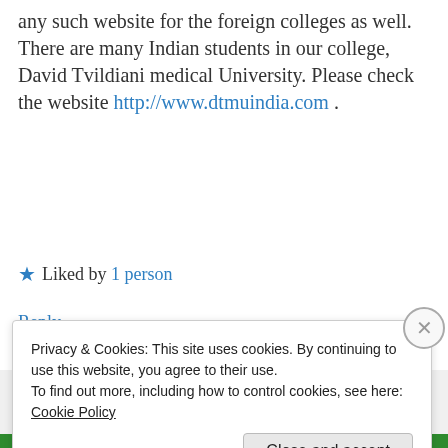any such website for the foreign colleges as well. There are many Indian students in our college, David Tvildiani medical University. Please check the website http://www.dtmuindia.com .
★ Liked by 1 person
Reply
Darshith Badiyani
Privacy & Cookies: This site uses cookies. By continuing to use this website, you agree to their use.
To find out more, including how to control cookies, see here: Cookie Policy